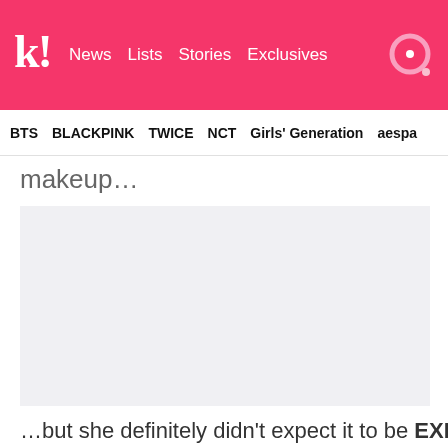k! News Lists Stories Exclusives [search]
BTS  BLACKPINK  TWICE  NCT  Girls' Generation  aespa
makeup…
[Figure (photo): Light gray placeholder image box]
…but she definitely didn't expect it to be EXID!